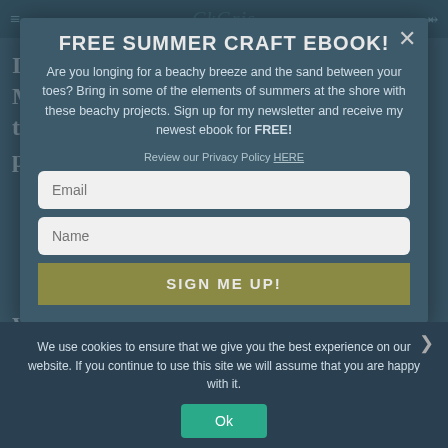CkGrls
If you subscribe to Food Network Magazine, you get this awesome index that has a picture of each recipe with the page number.
FREE SUMMER CRAFT EBOOK!
Are you longing for a beachy breeze and the sand between your toes? Bring in some of the elements of summers at the shore with these beachy projects. Sign up for my newsletter and receive my newest ebook for FREE!
Review our Privacy Policy HERE
Email
Name
SIGN ME UP!
When you are looking for something new to try, just pull out the binder and flip through all the indices. If you find something worth trying, pull the correct issue from your stash and turn to the specific page. It is SO
We use cookies to ensure that we give you the best experience on our website. If you continue to use this site we will assume that you are happy with it.
Ok